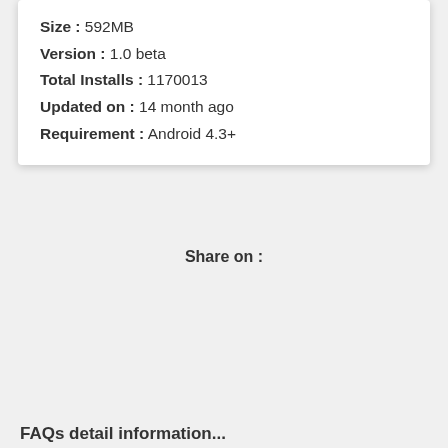Size : 592MB
Version : 1.0 beta
Total Installs : 1170013
Updated on : 14 month ago
Requirement : Android 4.3+
Share on :
FAQs detail information...